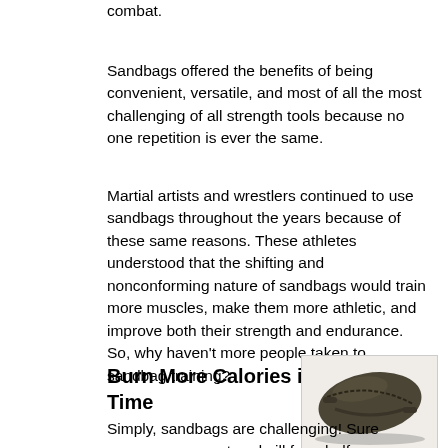combat.
Sandbags offered the benefits of being convenient, versatile, and most of all the most challenging of all strength tools because no one repetition is ever the same.
Martial artists and wrestlers continued to use sandbags throughout the years because of these same reasons. These athletes understood that the shifting and nonconforming nature of sandbags would train more muscles, make them more athletic, and improve both their strength and endurance. So, why haven't more people taken to sandbag training?
Burn More Calories in Less Time
[Figure (photo): A dark olive/brown sandbag viewed from above, showing its oval shape with handles and zipper details.]
Simply, sandbags are challenging! Sure you can run on a treadmill for a half hour, but as a recent client of